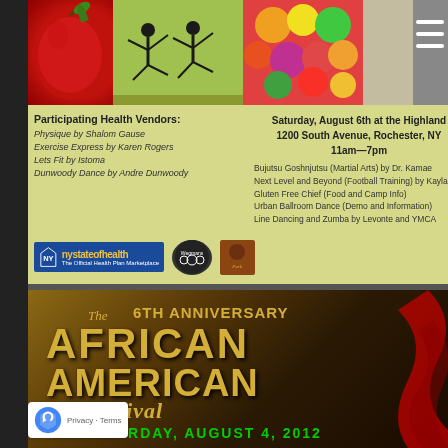[Figure (infographic): Health fair flyer with photo strip (apple, yoga poses, vegetables, person), participating health vendors list, NY State of Health logo, Wegmans logo, Park logo, event location and time, and list of activities]
Participating Health Vendors:
Physique by Shalom Gause
Exercise Express by Karen Rogers
Lets Fit by Istoma
Dunwoody Dance by Andre Dunwoody
Saturday, August 6th at the Highland
1200 South Avenue, Rochester, NY
11am—7pm
Bujutsu Goshnjutsu (Martial Arts) by Dr. Kamae
Next Level and Beyond (Football Training) by Kayla
Gluten Free Chief (Food and Camp Info)
Urban Ballroom Dance (Demo and Information)
Line Dancing and Zumba by Levonte and YMCA
[Figure (infographic): 6th Anniversary The African American Festival - Saturday August 4, 2012 promotional flyer with gold metallic text on dark brown/black background with red decorative swirl element on right side]
The 6TH ANNIVERSARY
AFRICAN
AMERICAN
Festival
SATURDAY, AUGUST 4, 2012